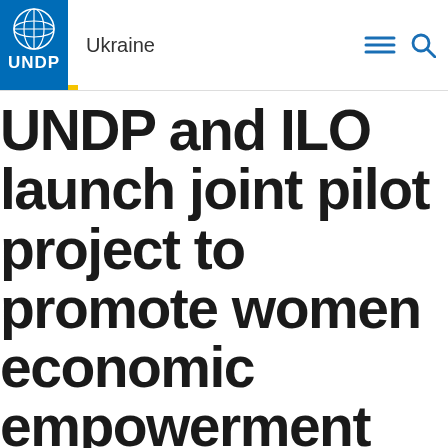Ukraine
UNDP and ILO launch joint pilot project to promote women economic empowerment
POSTED APRIL 23, 2021
Initiative to support women's business initiatives as Ukraine